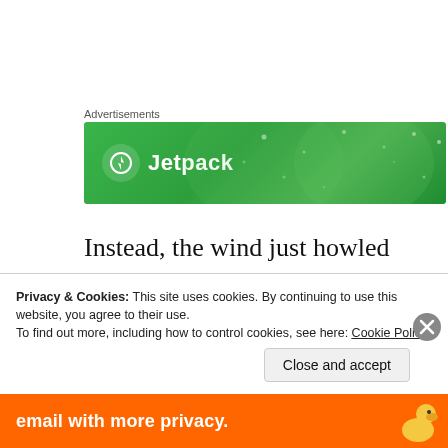Advertisements
[Figure (illustration): Jetpack advertisement banner with green gradient background, circular logo icon and 'Jetpack' text in white]
Instead, the wind just howled at me, wooed me away.
I think about this love that’s waiting for me. In the space far away from waking and inbetween the
Privacy & Cookies: This site uses cookies. By continuing to use this website, you agree to their use.
To find out more, including how to control cookies, see here: Cookie Policy
[Figure (screenshot): Close and accept button for cookie notice]
[Figure (illustration): Bottom advertisement banner with orange background showing 'email with more privacy.' text and duck logo]